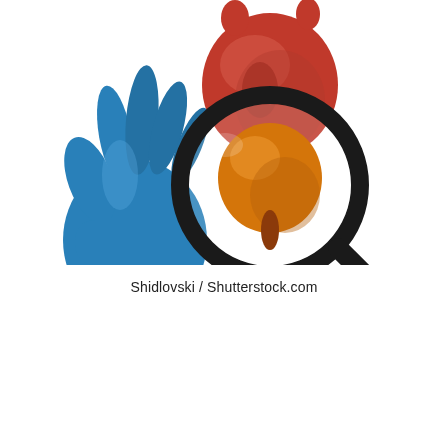[Figure (photo): A gloved blue hand holding a magnifying glass over an anatomical model of a urinary bladder (orange/amber colored, with urethra), with a red kidney model visible in the background, on a white background.]
Shidlovski / Shutterstock.com